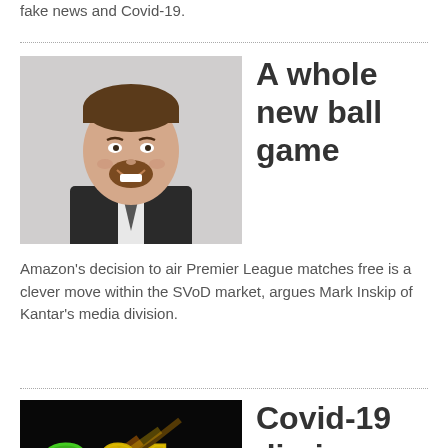fake news and Covid-19.
[Figure (photo): Headshot of a smiling man in a suit with a beard]
A whole new ball game
Amazon's decision to air Premier League matches free is a clever move within the SVoD market, argues Mark Inskip of Kantar's media division.
[Figure (logo): C21 Podcast logo with green/gold text on black background with colorful light streaks]
Covid-19 diaries:
Reynolds Mastin and Adrian Wootton
Canadian Media Producers Association president & CEO Reynolds Mastin